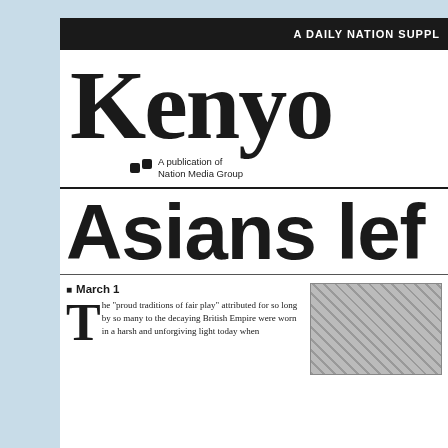A DAILY NATION SUPPL
Kenyo
A publication of Nation Media Group
Asians left
March 1
The "proud traditions of fair play" attributed for so long by so many to the decaying British Empire were worn in a harsh and unforgiving light today when
[Figure (photo): Newspaper clipping or photograph, partially visible]